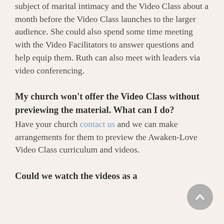subject of marital intimacy and the Video Class about a month before the Video Class launches to the larger audience. She could also spend some time meeting with the Video Facilitators to answer questions and help equip them. Ruth can also meet with leaders via video conferencing.
My church won't offer the Video Class without previewing the material. What can I do?
Have your church contact us and we can make arrangements for them to preview the Awaken-Love Video Class curriculum and videos.
Could we watch the videos as a